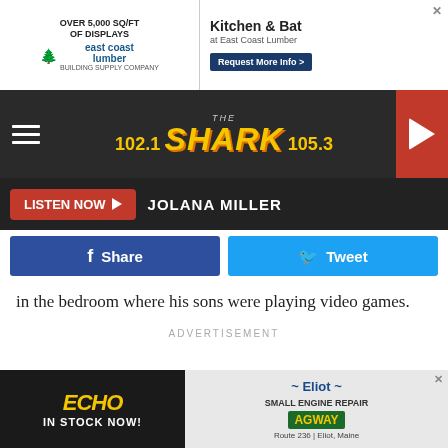[Figure (screenshot): Top advertisement banner for East Coast Lumber featuring 'OVER 5,000 SQ/FT OF DISPLAYS' on left and 'Kitchen & Bat at East Coast Lumber' with 'Request More Info >' button on right]
[Figure (logo): 102.1 The Shark 105.3 radio station logo with yellow shark graphic on dark background, with hamburger menu on left and red play button on right]
LISTEN NOW   JOLANA MILLER
[Figure (infographic): Social share buttons: blue Facebook Share button and light blue Twitter Tweet button]
in the bedroom where his sons were playing video games.
ADVERTISEMENT
[Figure (screenshot): Bottom advertisement for ECHO (IN STOCK NOW!) on left dark panel and Eliot Small Engine Repair / AGWAY at Route 236, Eliot, Maine on right gray panel]